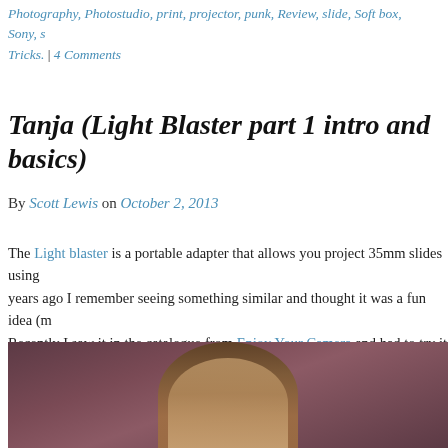Photography, Photostudio, print, projector, punk, Review, slide, Soft box, Sony, Tricks. | 4 Comments
Tanja (Light Blaster part 1 intro and basics)
By Scott Lewis on October 2, 2013
The Light blaster is a portable adapter that allows you project 35mm slides using years ago I remember seeing something similar and thought it was a fun idea (m Recently I saw it in the catalogue from Enjoy Your Camera and had to try it out.
[Figure (photo): Portrait photo of a woman with highlighted hair against a dark brownish-purple background]